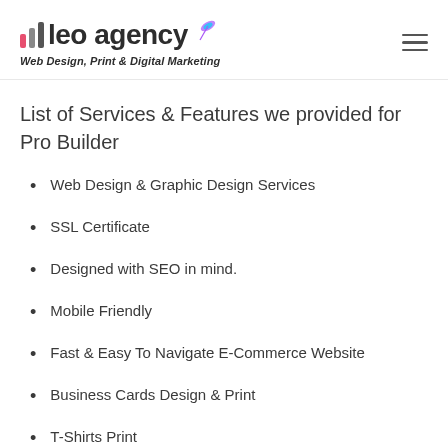[Figure (logo): leo agency logo with bar chart icon, feather icon, and tagline 'Web Design, Print & Digital Marketing']
List of Services & Features we provided for Pro Builder
Web Design & Graphic Design Services
SSL Certificate
Designed with SEO in mind.
Mobile Friendly
Fast & Easy To Navigate E-Commerce Website
Business Cards Design & Print
T-Shirts Print
Google Ads